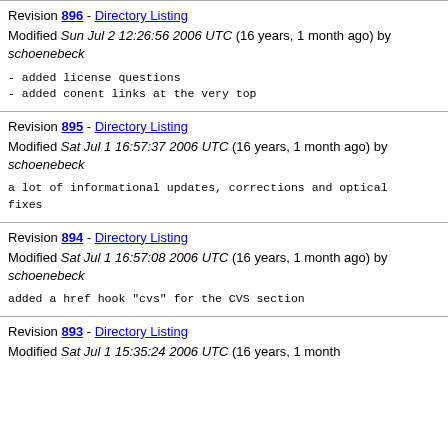Revision 896 - Directory Listing
Modified Sun Jul 2 12:26:56 2006 UTC (16 years, 1 month ago) by schoenebeck
- added license questions
- added conent links at the very top
Revision 895 - Directory Listing
Modified Sat Jul 1 16:57:37 2006 UTC (16 years, 1 month ago) by schoenebeck
a lot of informational updates, corrections and optical fixes
Revision 894 - Directory Listing
Modified Sat Jul 1 16:57:08 2006 UTC (16 years, 1 month ago) by schoenebeck
added a href hook "cvs" for the CVS section
Revision 893 - Directory Listing
Modified Sat Jul 1 15:35:24 2006 UTC (16 years, 1 month